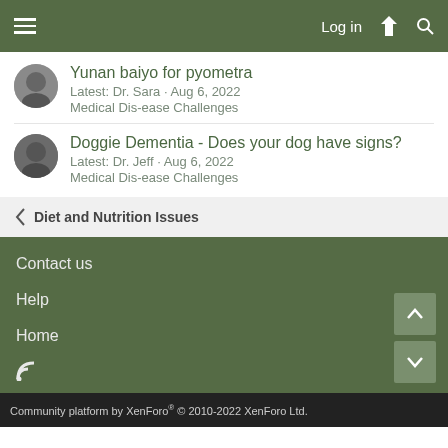Log in
Yunan baiyo for pyometra
Latest: Dr. Sara · Aug 6, 2022
Medical Dis-ease Challenges
Doggie Dementia - Does your dog have signs?
Latest: Dr. Jeff · Aug 6, 2022
Medical Dis-ease Challenges
Diet and Nutrition Issues
Contact us
Help
Home
Community platform by XenForo® © 2010-2022 XenForo Ltd.